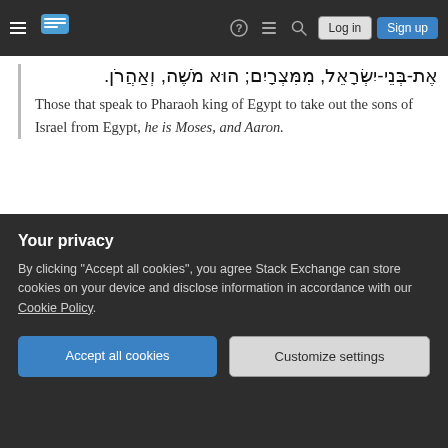Navigation bar with hamburger menu, logo, icons, Log in and Sign up buttons
אֶת-בְּנֵי-יִשְׂרָאֵל, מִמִּצְרָיִם; הוּא מֹשֶׁה, וְאַהֲרֹן.
Those that speak to Pharaoh king of Egypt to take out the sons of Israel from Egypt, he is Moses, and Aaron.
This time, I can render the grammatical horror in English properly. It is identical to the Hebrew grammatical horror. He is Moses, and Aaron. This time, it is a singular pronoun that is matched to Moses and Aaron.
There follows a definite pattern. Why this repeating
is Exodus 7:6
Your privacy
By clicking "Accept all cookies", you agree Stack Exchange can store cookies on your device and disclose information in accordance with our Cookie Policy.